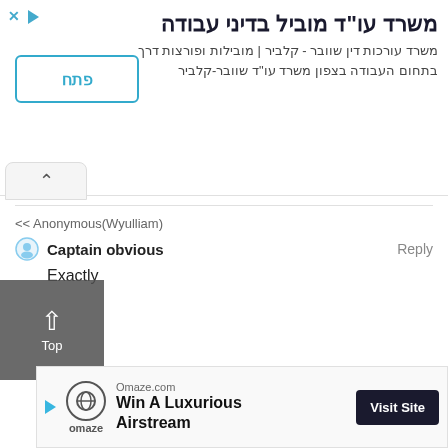[Figure (screenshot): Advertisement banner for a Hebrew law office - משרד עו"ד מוביל בדיני עבודה with a blue 'פתח' button]
<< Anonymous(Wyulliam)
Captain obvious
Reply
Exactly
[Figure (screenshot): Bottom advertisement for Omaze.com - Win A Luxurious Airstream with Visit Site button]